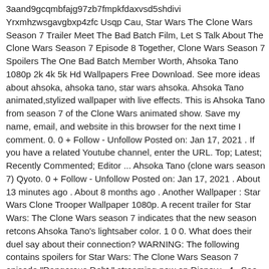3aand9gcqmbfajg97zb7fmpkfdaxvsd5shdivi Yrxmhzwsgavgbxp4zfc Usqp Cau, Star Wars The Clone Wars Season 7 Trailer Meet The Bad Batch Film, Let S Talk About The Clone Wars Season 7 Episode 8 Together, Clone Wars Season 7 Spoilers The One Bad Batch Member Worth, Ahsoka Tano 1080p 2k 4k 5k Hd Wallpapers Free Download. See more ideas about ahsoka, ahsoka tano, star wars ahsoka. Ahsoka Tano animated,stylized wallpaper with live effects. This is Ahsoka Tano from season 7 of the Clone Wars animated show. Save my name, email, and website in this browser for the next time I comment. 0. 0 + Follow - Unfollow Posted on: Jan 17, 2021 . If you have a related Youtube channel, enter the URL. Top; Latest; Recently Commented; Editor ... Ahsoka Tano (clone wars season 7) Qyoto. 0 + Follow - Unfollow Posted on: Jan 17, 2021 . About 13 minutes ago . About 8 months ago . Another Wallpaper : Star Wars Clone Trooper Wallpaper 1080p. A recent trailer for Star Wars: The Clone Wars season 7 indicates that the new season retcons Ahsoka Tano's lightsaber color. 1 0 0. What does their duel say about their connection? WARNING: The following contains spoilers for Star Wars: The Clone Wars Season 7 episode "Dangerous Debt," streaming now on Disney+. 4 . See more ideas about ahsoka, ahsoka tano, clone wars. Ahsoka Tano Season 7 animated wallpaper with live effects. Español - Latinoamérica (Spanish